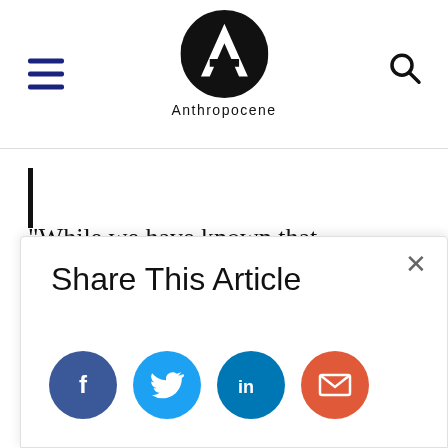Anthropocene
“While we have known that biodiversity on land is important for benefits such as forest production, this study provides new evidence that the benefits of biodiversity in oceans and freshwaters are as great as on land,” said Joey Bernhardt, lead author
Share This Article
[Figure (infographic): Social share buttons: Facebook (blue circle with f), Twitter (light blue circle with bird), LinkedIn (teal circle with in), Email (orange-red circle with envelope)]